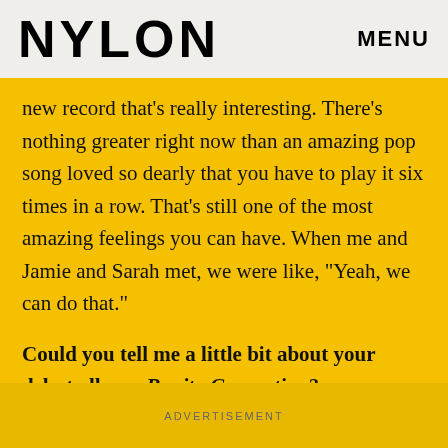NYLON   MENU
new record that's really interesting. There's nothing greater right now than an amazing pop song loved so dearly that you have to play it six times in a row. That's still one of the most amazing feelings you can have. When me and Jamie and Sarah met, we were like, "Yeah, we can do that."
Could you tell me a little bit about your debut album, Bonito Generation?
ADVERTISEMENT